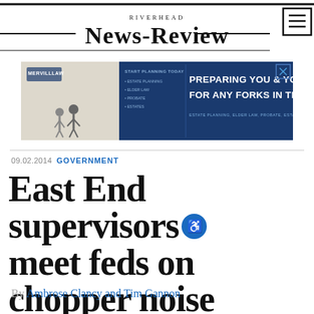RIVERHEAD NEWS-REVIEW
[Figure (infographic): Advertisement banner: Merrill Law firm ad reading 'PREPARING YOU & YOUR FAMILY, FOR ANY FORKS IN THE ROAD' with estate planning bullet points on blue background]
09.02.2014 GOVERNMENT
East End supervisors meet feds on chopper noise
By Ambrose Clancy and Tim Gannon